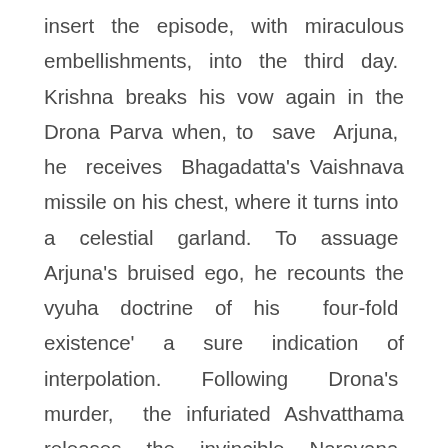insert the episode, with miraculous embellishments, into the third day. Krishna breaks his vow again in the Drona Parva when, to save Arjuna, he receives Bhagadatta's Vaishnava missile on his chest, where it turns into a celestial garland. To assuage Arjuna's bruised ego, he recounts the vyuha doctrine of his four-fold existence' a sure indication of interpolation. Following Drona's murder, the infuriated Ashvatthama releases the invincible Narayana missile which is neutralised by Krishna. The name of the weapon and Krishna's intervention bereft of any miraculous transformation indicates that this was the incident on which the Vaishnava missile